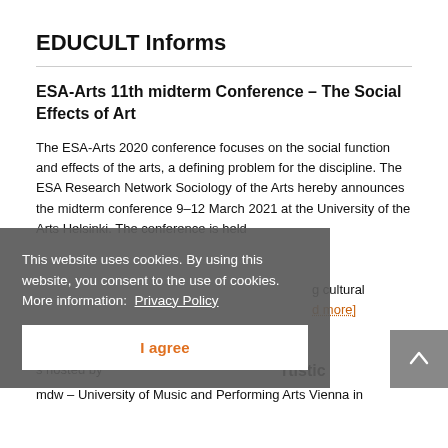EDUCULT Informs
ESA-Arts 11th midterm Conference – The Social Effects of Art
The ESA-Arts 2020 conference focuses on the social function and effects of the arts, a defining problem for the discipline. The ESA Research Network Sociology of the Arts hereby announces the midterm conference 9–12 March 2021 at the University of the Arts Helsinki. The conference is held … g cultural [read more]
This website uses cookies. By using this website, you consent to the use of cookies. More information: Privacy Policy
I agree
… rtistic
… the Society … s hosted by
mdw – University of Music and Performing Arts Vienna in